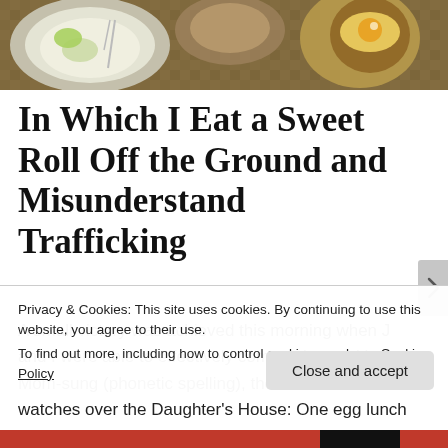[Figure (photo): Food photograph showing plates with rice, eggs, and other dishes on a patterned tablecloth/surface]
In Which I Eat a Sweet Roll Off the Ground and Misunderstand Trafficking
A small victory was achieved this morning when J and I were able to effectively communicate with Mom-sung (phonetic spelling), the woman who watches over the Daughter's House: One egg lunch
Privacy & Cookies: This site uses cookies. By continuing to use this website, you agree to their use.
To find out more, including how to control cookies, see here: Cookie Policy
Close and accept